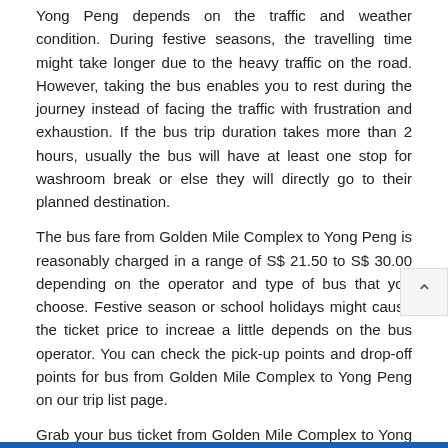Yong Peng depends on the traffic and weather condition. During festive seasons, the travelling time might take longer due to the heavy traffic on the road. However, taking the bus enables you to rest during the journey instead of facing the traffic with frustration and exhaustion. If the bus trip duration takes more than 2 hours, usually the bus will have at least one stop for washroom break or else they will directly go to their planned destination.
The bus fare from Golden Mile Complex to Yong Peng is reasonably charged in a range of S$ 21.50 to S$ 30.00 depending on the operator and type of bus that you choose. Festive season or school holidays might cause the ticket price to increae a little depends on the bus operator. You can check the pick-up points and drop-off points for bus from Golden Mile Complex to Yong Peng on our trip list page.
Grab your bus ticket from Golden Mile Complex to Yong Peng now at BusOnlineTicket.com and travel comfortably without any hassle. Various payment options are available on our portal such as credit card, online banking, Alipay, e-Wallet and PayPal. Booking confirmation email will be sent to you after you make your payment.